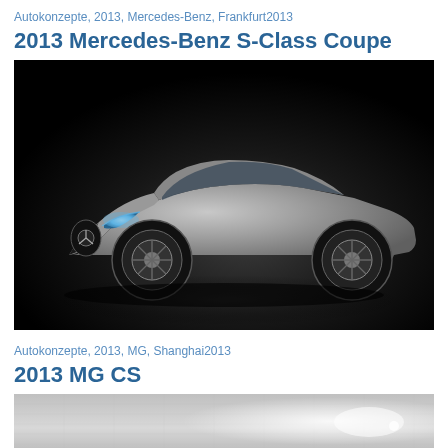Autokonzepte, 2013, Mercedes-Benz, Frankfurt2013
2013 Mercedes-Benz S-Class Coupe
[Figure (photo): 2013 Mercedes-Benz S-Class Coupe concept car shown against a dark background, silver/grey exterior, front three-quarter view showing Mercedes star grille and LED headlights]
Autokonzepte, 2013, MG, Shanghai2013
2013 MG CS
[Figure (photo): 2013 MG CS concept car, partially visible at bottom of page, silver/metallic surface with bright light reflection]